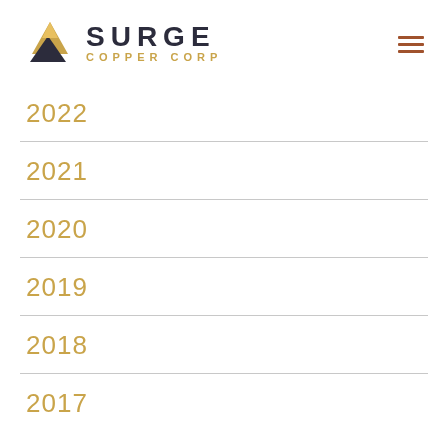Surge Copper Corp
2022
2021
2020
2019
2018
2017